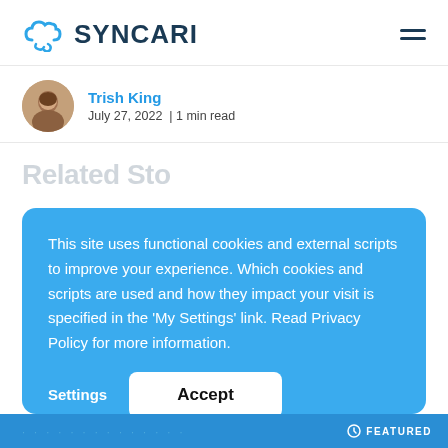SYNCARI
Trish King
July 27, 2022  | 1 min read
Related Sto...
This site uses functional cookies and external scripts to improve your experience. Which cookies and scripts are used and how they impact your visit is specified in the ‘My Settings’ link. Read Privacy Policy for more information.
Settings   Accept
FEATURED